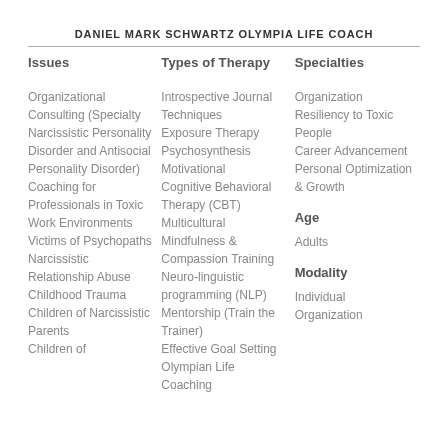DANIEL MARK SCHWARTZ OLYMPIA LIFE COACH
| Issues | Types of Therapy | Specialties |
| --- | --- | --- |
| Organizational Consulting (Specialty Narcissistic Personality Disorder and Antisocial Personality Disorder) | Introspective Journal Techniques | Organization |
| Coaching for Professionals in Toxic Work Environments | Exposure Therapy | Resiliency to Toxic People |
| Victims of Psychopaths | Psychosynthesis | Career Advancement |
| Narcissistic Relationship Abuse | Motivational | Personal Optimization & Growth |
| Childhood Trauma | Cognitive Behavioral Therapy (CBT) |  |
| Children of Narcissistic Parents | Multicultural | Age |
| Children of | Mindfulness & Compassion Training | Adults |
|  | Neuro-linguistic programming (NLP) | Modality |
|  | Mentorship (Train the Trainer) | Individual |
|  | Effective Goal Setting | Organization |
|  | Olympian Life Coaching |  |